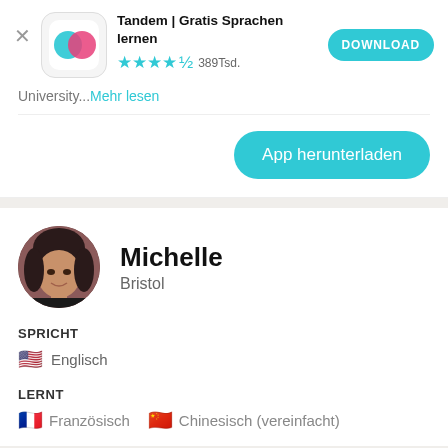[Figure (screenshot): Tandem app icon — rounded square with teal and pink overlapping speech bubble circles on white background]
Tandem | Gratis Sprachen lernen
★★★★½ 389Tsd.
[Figure (screenshot): DOWNLOAD button — teal rounded pill button with white bold text]
University...Mehr lesen
[Figure (screenshot): App herunterladen button — large teal rounded pill button with white text]
[Figure (photo): Circular profile photo of Michelle, a woman with dark hair]
Michelle
Bristol
SPRICHT
🇺🇸 Englisch
LERNT
🇫🇷 Französisch   🇨🇳 Chinesisch (vereinfacht)